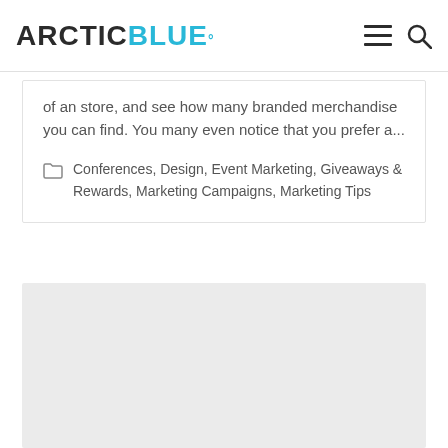ARCTIC BLUE°
of an store, and see how many branded merchandise you can find. You many even notice that you prefer a...
Conferences, Design, Event Marketing, Giveaways & Rewards, Marketing Campaigns, Marketing Tips
[Figure (other): Gray placeholder block at the bottom of the page]